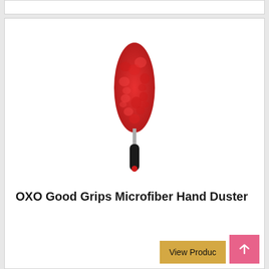[Figure (photo): Red OXO Good Grips Microfiber Hand Duster with black handle and red accent dot at bottom of handle]
OXO Good Grips Microfiber Hand Duster